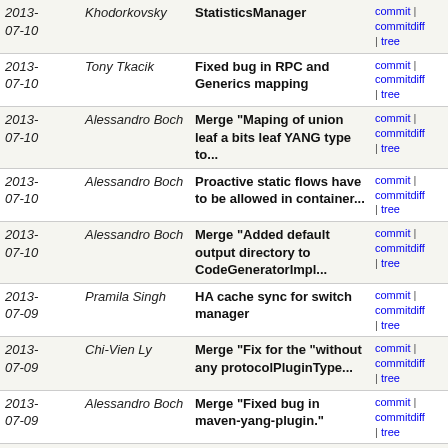| Date | Author | Message | Links |
| --- | --- | --- | --- |
| 2013-07-10 | Khodorkovsky | StatisticsManager | commit | commitdiff | tree |
| 2013-07-10 | Tony Tkacik | Fixed bug in RPC and Generics mapping | commit | commitdiff | tree |
| 2013-07-10 | Alessandro Boch | Merge "Maping of union leaf a bits leaf YANG type to... | commit | commitdiff | tree |
| 2013-07-10 | Alessandro Boch | Proactive static flows have to be allowed in container... | commit | commitdiff | tree |
| 2013-07-10 | Alessandro Boch | Merge "Added default output directory to CodeGeneratorImpl... | commit | commitdiff | tree |
| 2013-07-09 | Pramila Singh | HA cache sync for switch manager | commit | commitdiff | tree |
| 2013-07-09 | Chi-Vien Ly | Merge "Fix for the "without any protocolPluginType... | commit | commitdiff | tree |
| 2013-07-09 | Alessandro Boch | Merge "Fixed bug in maven-yang-plugin." | commit | commitdiff | tree |
| 2013-07-09 | Alessandro Boch | Merge "Added more tests for yang parser. Updated current... | commit | commitdiff | tree |
| 2013-07-09 | Alessandro Boch | Merge "first implementation of yang-data-api" | commit | commitdiff | tree |
| 2013-07-08 | Alessandro Boch | Merge "Ensuring that SET_DL_* action with openflowj... | commit | commitdiff | tree |
| 2013-07-05 | Alessandro Boch | Merge "adding isBroadcast and isMulticast functions... | commit | commitdiff | tree |
| 2013-07-05 | Alessandro Boch | Merge "Fixing the style checker to ignore the target... | commit | commitdiff | tree |
| 2013-07-03 | Alessandro Boch | Merge "Added support to generate types from Choices... | commit | commitdiff | tree |